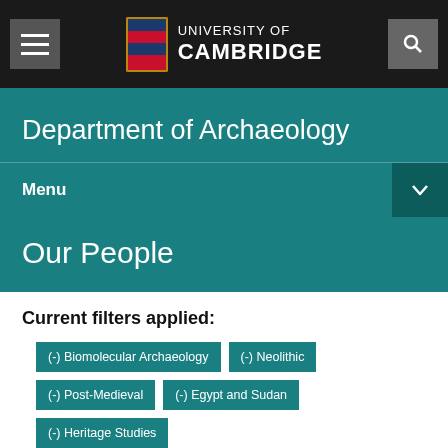University of Cambridge
Department of Archaeology
Menu
Our People
Current filters applied:
(-) Biomolecular Archaeology
(-) Neolithic
(-) Post-Medieval
(-) Egypt and Sudan
(-) Heritage Studies
Reset all